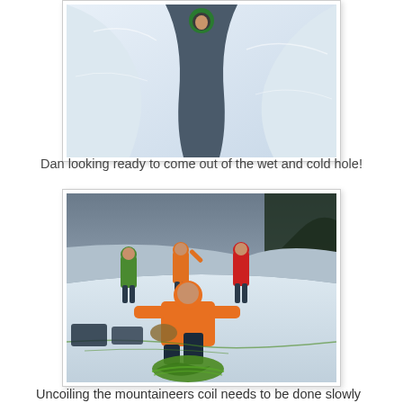[Figure (photo): A person (Dan) looking up from inside a wet and cold snow/ice hole or crevasse, with snow walls around them.]
Dan looking ready to come out of the wet and cold hole!
[Figure (photo): Four mountaineers on a snowy slope. One person in an orange jacket in the foreground is kneeling down uncoiling a green rope. Three other climbers stand in the background in green, orange, and red jackets.]
Uncoiling the mountaineers coil needs to be done slowly to avoid getting tangled.  Here, Logan slowly uncoils his rope,